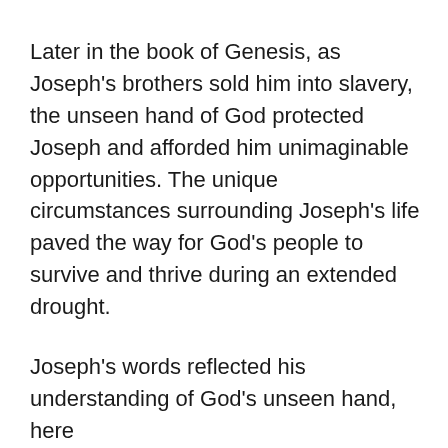Later in the book of Genesis, as Joseph's brothers sold him into slavery, the unseen hand of God protected Joseph and afforded him unimaginable opportunities. The unique circumstances surrounding Joseph's life paved the way for God's people to survive and thrive during an extended drought.
Joseph's words reflected his understanding of God's unseen hand, here